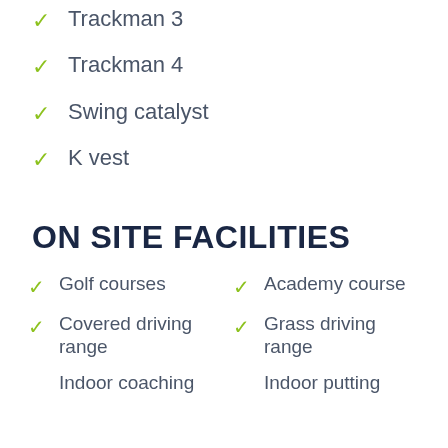Trackman 3
Trackman 4
Swing catalyst
K vest
ON SITE FACILITIES
Golf courses
Academy course
Covered driving range
Grass driving range
Indoor coaching
Indoor putting